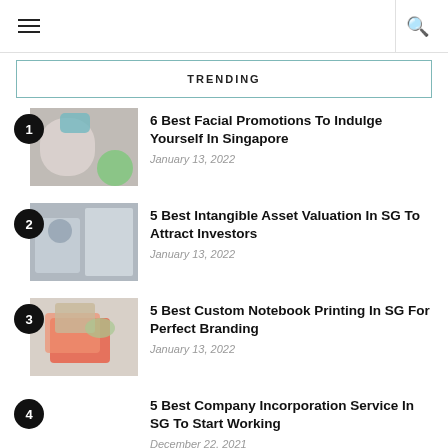≡  🔍
TRENDING
6 Best Facial Promotions To Indulge Yourself In Singapore — January 13, 2022
5 Best Intangible Asset Valuation In SG To Attract Investors — January 13, 2022
5 Best Custom Notebook Printing In SG For Perfect Branding — January 13, 2022
5 Best Company Incorporation Service In SG To Start Working — December 22, 2021